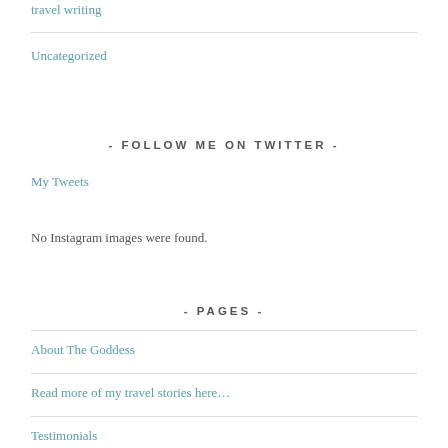travel writing
Uncategorized
- FOLLOW ME ON TWITTER -
My Tweets
No Instagram images were found.
- PAGES -
About The Goddess
Read more of my travel stories here…
Testimonials